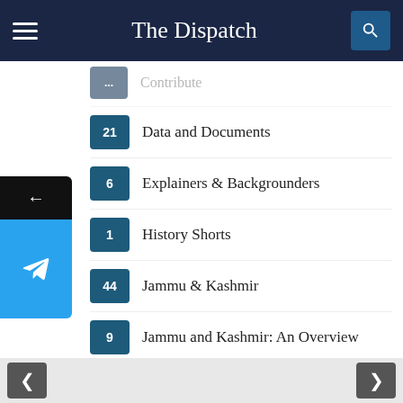The Dispatch
21 Data and Documents
6 Explainers & Backgrounders
1 History Shorts
44 Jammu & Kashmir
9 Jammu and Kashmir: An Overview
2 Lists and Timelines
907 Opinion
11 Past in Pictures
118 The Dispatch Videos
6,898 The Lead